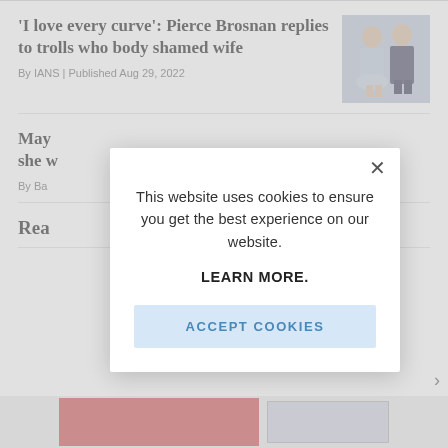'I love every curve': Pierce Brosnan replies to trolls who body shamed wife
By IANS | Published Aug 29, 2022
[Figure (photo): A couple standing together, woman in light blue dress, man in dark suit]
May she
By Ba
Rea
This website uses cookies to ensure you get the best experience on our website.

LEARN MORE.
ACCEPT COOKIES